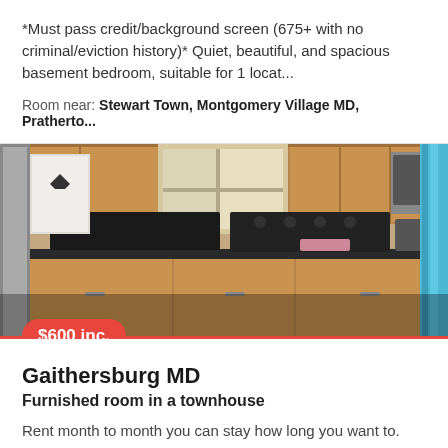*Must pass credit/background screen (675+ with no criminal/eviction history)* Quiet, beautiful, and spacious basement bedroom, suitable for 1 locat...
Room near: Stewart Town, Montgomery Village MD, Pratherto...
[Figure (photo): Kitchen photo showing stainless steel appliances including a stove, microwave above cabinets, wooden cabinetry, dark countertops, and a blue curtain on the right side. A price badge '$600 inc.' in red is overlaid at the bottom left.]
Gaithersburg MD
Furnished room in a townhouse
Rent month to month you can stay how long you want to. Townhouse with a private bedroom available with bathroom shared. It's located in the basement o...